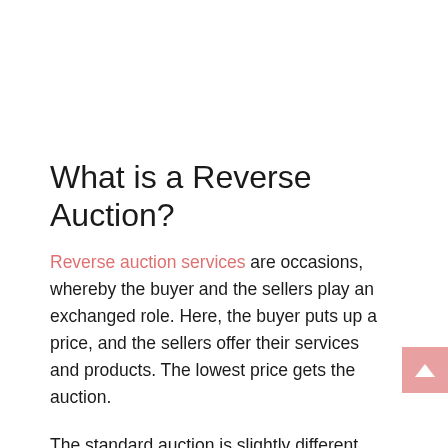What is a Reverse Auction?
Reverse auction services are occasions, whereby the buyer and the sellers play an exchanged role. Here, the buyer puts up a price, and the sellers offer their services and products. The lowest price gets the auction.
The standard auction is slightly different from the Reverse Auction – not categorized differently, but still follows a similar pattern. This time, the buyer is the one to release the maximum bid amount. Notwithstanding, the seller offer their products and services at